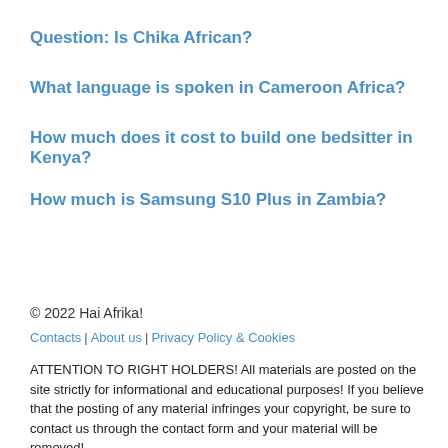Question: Is Chika African?
What language is spoken in Cameroon Africa?
How much does it cost to build one bedsitter in Kenya?
How much is Samsung S10 Plus in Zambia?
© 2022 Hai Afrika!
Contacts | About us | Privacy Policy & Cookies
ATTENTION TO RIGHT HOLDERS! All materials are posted on the site strictly for informational and educational purposes! If you believe that the posting of any material infringes your copyright, be sure to contact us through the contact form and your material will be removed!